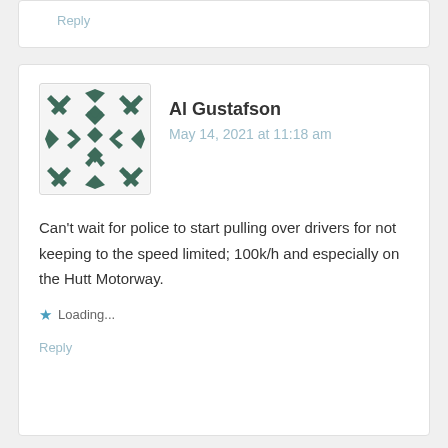Reply
[Figure (illustration): Avatar image showing a geometric pattern with dark green X and diamond shapes arranged symmetrically on a light background]
Al Gustafson
May 14, 2021 at 11:18 am
Can't wait for police to start pulling over drivers for not keeping to the speed limited; 100k/h and especially on the Hutt Motorway.
★ Loading...
Reply